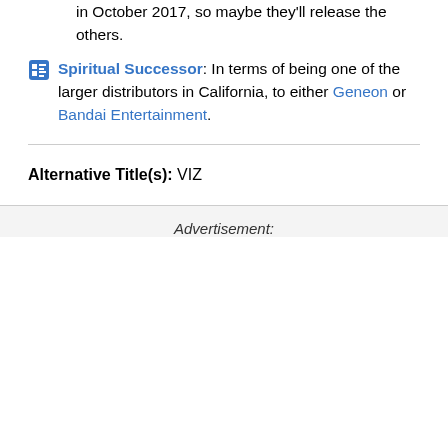in October 2017, so maybe they'll release the others.
Spiritual Successor: In terms of being one of the larger distributors in California, to either Geneon or Bandai Entertainment.
Alternative Title(s): VIZ
Advertisement: